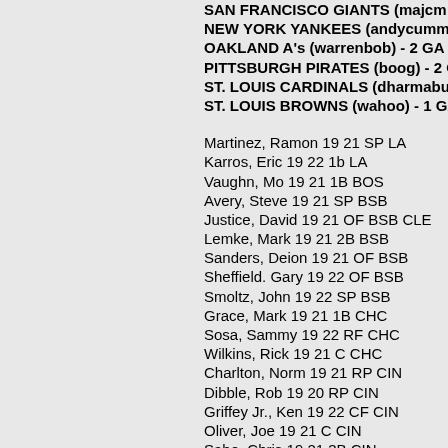SAN FRANCISCO GIANTS (majcm...)
NEW YORK YANKEES (andycummi...)
OAKLAND A's (warrenbob) - 2 GA -
PITTSBURGH PIRATES (boog) - 2 G...
ST. LOUIS CARDINALS (dharmabur...)
ST. LOUIS BROWNS (wahoo) - 1 GA...
Martinez, Ramon 19 21 SP LA
Karros, Eric 19 22 1b LA
Vaughn, Mo 19 21 1B BOS
Avery, Steve 19 21 SP BSB
Justice, David 19 21 OF BSB CLE
Lemke, Mark 19 21 2B BSB
Sanders, Deion 19 21 OF BSB
Sheffield. Gary 19 22 OF BSB
Smoltz, John 19 22 SP BSB
Grace, Mark 19 21 1B CHC
Sosa, Sammy 19 22 RF CHC
Wilkins, Rick 19 21 C CHC
Charlton, Norm 19 21 RP CIN
Dibble, Rob 19 20 RP CIN
Griffey Jr., Ken 19 22 CF CIN
Oliver, Joe 19 21 C CIN
Sabo, Chris 19 21 3B CIN
Sanders, Reggie 19 22 OF CIN
Alomar, Roberto 19 22 2B CLE SL...